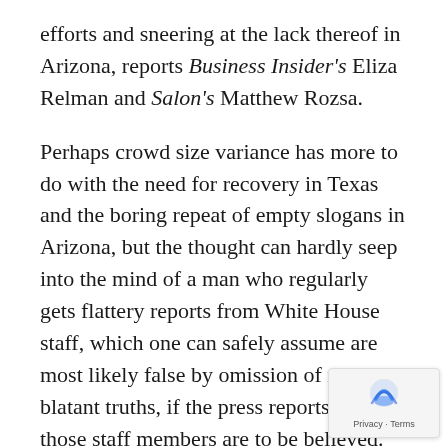efforts and sneering at the lack thereof in Arizona, reports Business Insider's Eliza Relman and Salon's Matthew Rozsa.
Perhaps crowd size variance has more to do with the need for recovery in Texas and the boring repeat of empty slogans in Arizona, but the thought can hardly seep into the mind of a man who regularly gets flattery reports from White House staff, which one can safely assume are most likely false by omission of many blatant truths, if the press reports from those staff members are to be believed.
This is a man who needs flattery, as evidenced by his attitude towards George Gigicos, who was to he would never be allowed to organize another after his doing so for the rally in Phoenix, where the